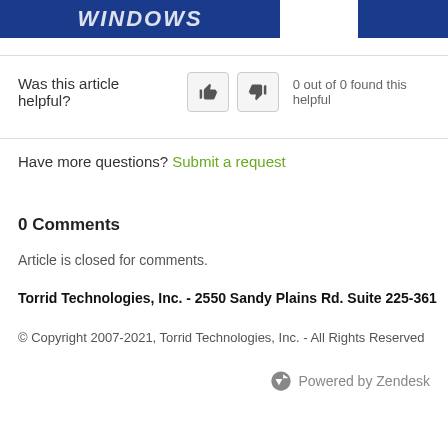[Figure (logo): Blue banner header with white italic bold text (partially visible, appears to say WINDOWS or similar) and a second blue box on the right]
Was this article helpful? 0 out of 0 found this helpful
Have more questions? Submit a request
0 Comments
Article is closed for comments.
Torrid Technologies, Inc. - 2550 Sandy Plains Rd. Suite 225-361
© Copyright 2007-2021, Torrid Technologies, Inc. - All Rights Reserved
Powered by Zendesk